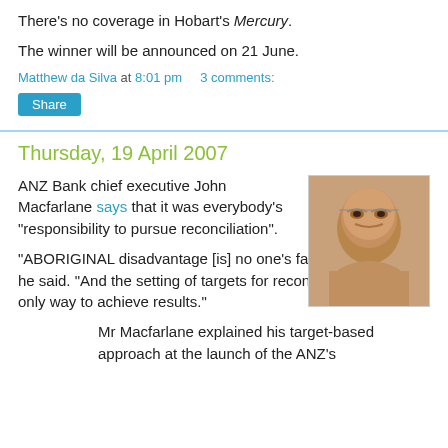There's no coverage in Hobart's Mercury.
The winner will be announced on 21 June.
Matthew da Silva at 8:01 pm    3 comments:
Share
Thursday, 19 April 2007
ANZ Bank chief executive John Macfarlane says that it was everybody's "responsibility to pursue reconciliation".
[Figure (photo): Headshot photo of a man wearing glasses, close-up, warm lighting]
"ABORIGINAL disadvantage [is] no one's fault in particular," he said. "And the setting of targets for reconciliation [is] the only way to achieve results."
Mr Macfarlane explained his target-based approach at the launch of the ANZ's